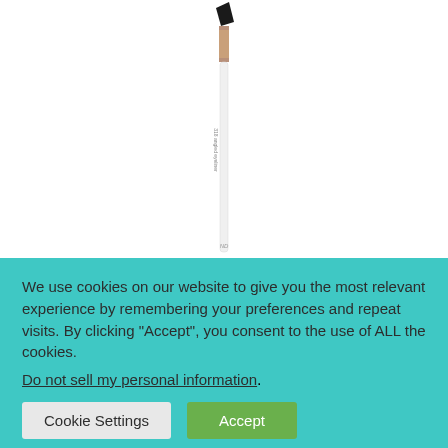[Figure (photo): A makeup angled eyeliner brush with white handle, rose gold ferrule, and black angled bristles. The brush handle shows text '318 angled eyeliner' written vertically.]
We use cookies on our website to give you the most relevant experience by remembering your preferences and repeat visits. By clicking "Accept", you consent to the use of ALL the cookies.
Do not sell my personal information.
Cookie Settings
Accept